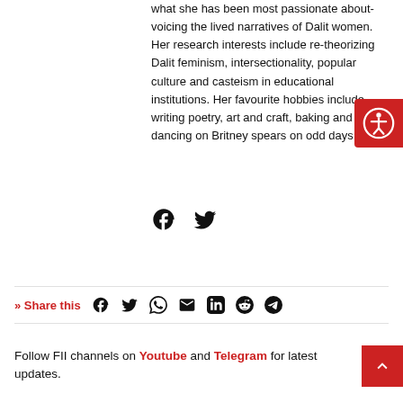what she has been most passionate about- voicing the lived narratives of Dalit women. Her research interests include re-theorizing Dalit feminism, intersectionality, popular culture and casteism in educational institutions. Her favourite hobbies include writing poetry, art and craft, baking and dancing on Britney spears on odd days.
[Figure (other): Social share icons: Facebook and Twitter]
» Share this [Facebook] [Twitter] [WhatsApp] [Email] [LinkedIn] [Reddit] [Telegram]
Follow FII channels on Youtube and Telegram for latest updates.